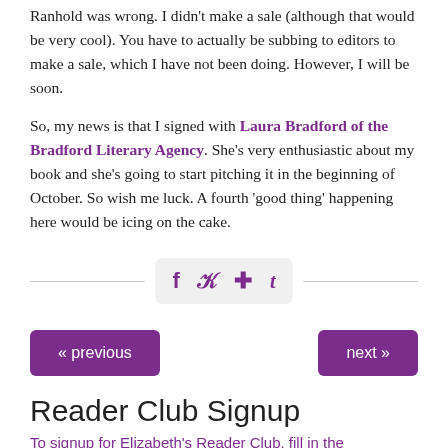Ranhold was wrong. I didn't make a sale (although that would be very cool). You have to actually be subbing to editors to make a sale, which I have not been doing. However, I will be soon.

So, my news is that I signed with Laura Bradford of the Bradford Literary Agency. She's very enthusiastic about my book and she's going to start pitching it in the beginning of October. So wish me luck. A fourth 'good thing' happening here would be icing on the cake.
[Figure (infographic): Social share icons row: Facebook, Twitter, Pinterest, Tumblr icons in purple on a light gray rounded rectangle, flanked by horizontal divider lines]
« previous
next »
Reader Club Signup
To signup for Elizabeth's Reader Club, fill in the...